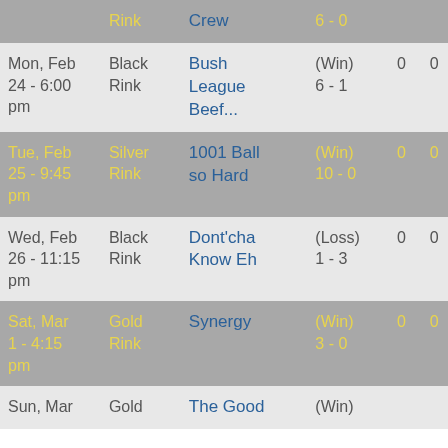| Date | Rink | Opponent | Result | Pts |  |
| --- | --- | --- | --- | --- | --- |
|  | Rink | Crew | 6 - 0 |  |  |
| Mon, Feb 24 - 6:00 pm | Black Rink | Bush League Beef... | (Win) 6 - 1 | 0 | 0 |
| Tue, Feb 25 - 9:45 pm | Silver Rink | 1001 Ball so Hard | (Win) 10 - 0 | 0 | 0 |
| Wed, Feb 26 - 11:15 pm | Black Rink | Dont'cha Know Eh | (Loss) 1 - 3 | 0 | 0 |
| Sat, Mar 1 - 4:15 pm | Gold Rink | Synergy | (Win) 3 - 0 | 0 | 0 |
| Sun, Mar | Gold | The Good | (Win) |  |  |